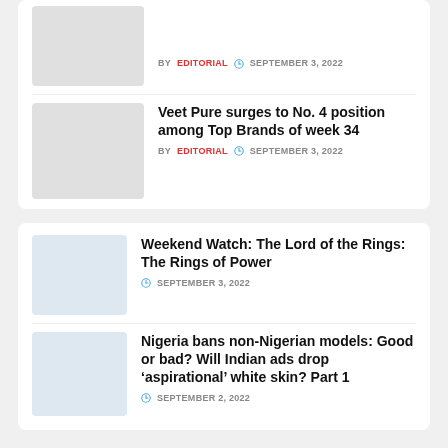[Figure (photo): Thumbnail image placeholder (light gray) for first article]
BY EDITORIAL  SEPTEMBER 3, 2022
[Figure (photo): Thumbnail image placeholder (light gray) for Veet Pure article]
Veet Pure surges to No. 4 position among Top Brands of week 34
BY EDITORIAL  SEPTEMBER 3, 2022
[Figure (photo): Thumbnail image placeholder (light blue-gray) for Weekend Watch article]
Weekend Watch: The Lord of the Rings: The Rings of Power
SEPTEMBER 3, 2022
[Figure (photo): Thumbnail image placeholder (light blue-gray) for Nigeria bans article]
Nigeria bans non-Nigerian models: Good or bad? Will Indian ads drop ‘aspirational’ white skin? Part 1
SEPTEMBER 2, 2022